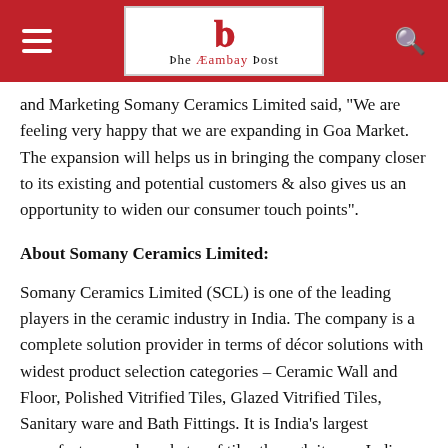The Cambay Post
and Marketing Somany Ceramics Limited said, "We are feeling very happy that we are expanding in Goa Market. The expansion will helps us in bringing the company closer to its existing and potential customers & also gives us an opportunity to widen our consumer touch points".
About Somany Ceramics Limited:
Somany Ceramics Limited (SCL) is one of the leading players in the ceramic industry in India. The company is a complete solution provider in terms of décor solutions with widest product selection categories – Ceramic Wall and Floor, Polished Vitrified Tiles, Glazed Vitrified Tiles, Sanitary ware and Bath Fittings. It is India's largest manufacturer and marketer of tiles through its pan India presence and also exports its products to more